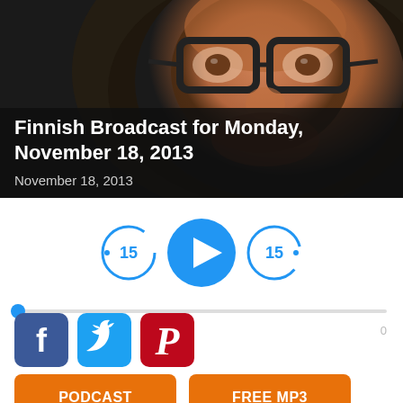[Figure (photo): Close-up photo of an older man wearing dark-framed glasses, against a dark background]
Finnish Broadcast for Monday, November 18, 2013
November 18, 2013
[Figure (other): Audio player controls: rewind 15s button, play button, forward 15s button, progress bar showing 00:00 / 0]
[Figure (other): Social sharing buttons: Facebook, Twitter, Pinterest]
PODCAST
FREE MP3